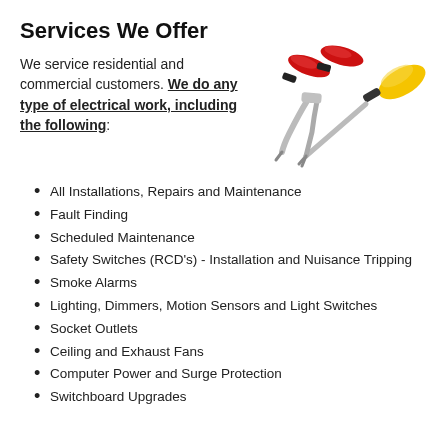Services We Offer
We service residential and commercial customers. We do any type of electrical work, including the following:
[Figure (photo): Two electrical tools: red-handled pliers/wire cutters and a yellow-handled screwdriver, crossed on a white background.]
All Installations, Repairs and Maintenance
Fault Finding
Scheduled Maintenance
Safety Switches (RCD's) - Installation and Nuisance Tripping
Smoke Alarms
Lighting, Dimmers, Motion Sensors and Light Switches
Socket Outlets
Ceiling and Exhaust Fans
Computer Power and Surge Protection
Switchboard Upgrades